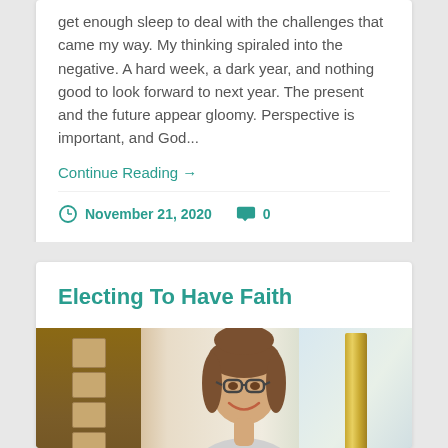get enough sleep to deal with the challenges that came my way. My thinking spiraled into the negative. A hard week, a dark year, and nothing good to look forward to next year. The present and the future appear gloomy. Perspective is important, and God...
Continue Reading →
November 21, 2020  0
Electing To Have Faith
[Figure (photo): A smiling person with glasses and long hair, photographed indoors with a gold picture frame visible to their right and winter foliage visible through a window in the background.]